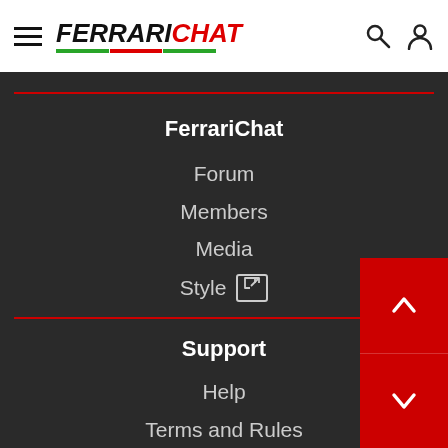FerrariChat navigation header with logo, hamburger menu, search and user icons
FerrariChat
Forum
Members
Media
Style
Support
Help
Terms and Rules
About